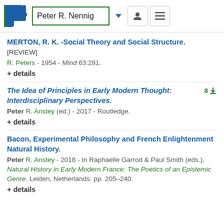Peter R. Nennig
MERTON, R. K. -Social Theory and Social Structure. [REVIEW]
R. Peters - 1954 - Mind 63:281.
+ details
The Idea of Principles in Early Modern Thought: Interdisciplinary Perspectives.
Peter R. Anstey (ed.) - 2017 - Routledge.
+ details
Bacon, Experimental Philosophy and French Enlightenment Natural History.
Peter R. Anstey - 2018 - In Raphaelle Garrod & Paul Smith (eds.), Natural History in Early Modern France: The Poetics of an Epistemic Genre. Leiden, Netherlands: pp. 205–240.
+ details